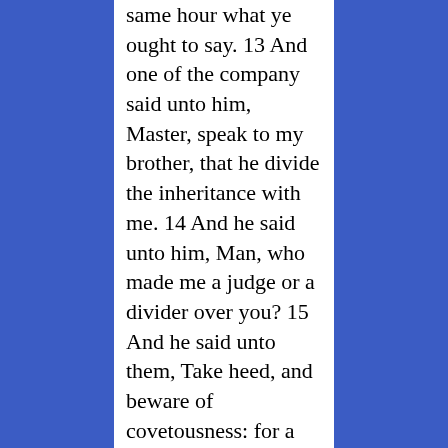same hour what ye ought to say. 13 And one of the company said unto him, Master, speak to my brother, that he divide the inheritance with me. 14 And he said unto him, Man, who made me a judge or a divider over you? 15 And he said unto them, Take heed, and beware of covetousness: for a man's life consisteth not in the abundance of the things which he possesseth. 16 And he spake